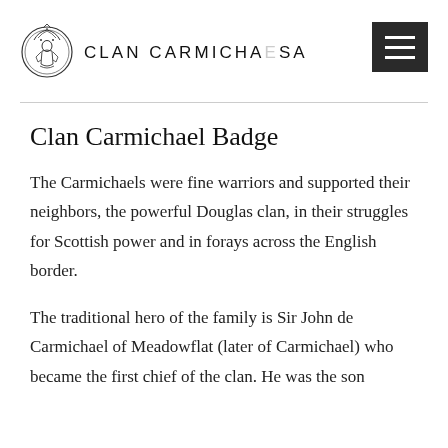CLAN CARMICHAEL USA
Clan Carmichael Badge
The Carmichaels were fine warriors and supported their neighbors, the powerful Douglas clan, in their struggles for Scottish power and in forays across the English border.
The traditional hero of the family is Sir John de Carmichael of Meadowflat (later of Carmichael) who became the first chief of the clan. He was the son